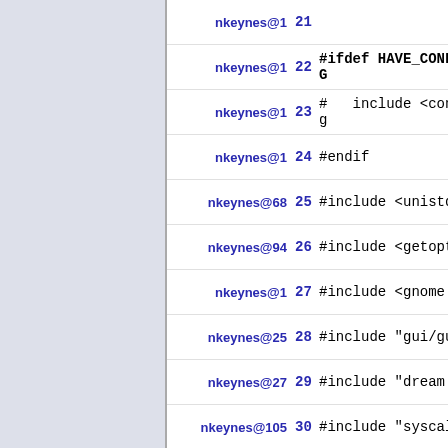nkeynes@1  21
nkeynes@1  22 #ifdef HAVE_CONFIG
nkeynes@1  23 #  include <config
nkeynes@1  24 #endif
nkeynes@68 25 #include <unistd.h
nkeynes@94 26 #include <getopt.h
nkeynes@1  27 #include <gnome.h>
nkeynes@25 28 #include "gui/gui.
nkeynes@27 29 #include "dream.h"
nkeynes@105 30 #include "syscall.